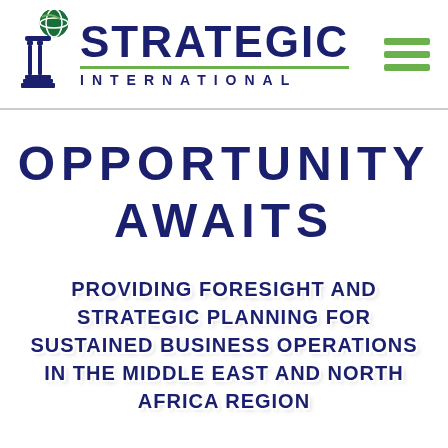[Figure (logo): Strategic International logo with column icon, globe, company name, and green hamburger menu icon]
OPPORTUNITY AWAITS
PROVIDING FORESIGHT AND STRATEGIC PLANNING FOR SUSTAINED BUSINESS OPERATIONS IN THE MIDDLE EAST AND NORTH AFRICA REGION